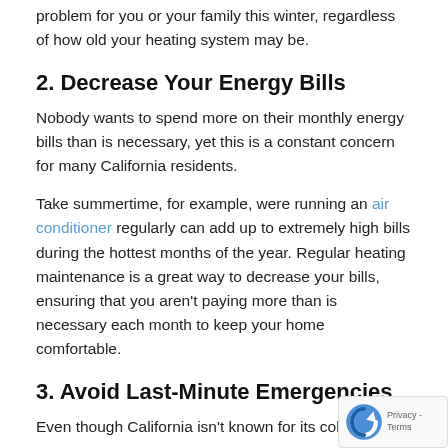problem for you or your family this winter, regardless of how old your heating system may be.
2. Decrease Your Energy Bills
Nobody wants to spend more on their monthly energy bills than is necessary, yet this is a constant concern for many California residents.
Take summertime, for example, were running an air conditioner regularly can add up to extremely high bills during the hottest months of the year. Regular heating maintenance is a great way to decrease your bills, ensuring that you aren't paying more than is necessary each month to keep your home comfortable.
3. Avoid Last-Minute Emergencies
Even though California isn't known for its cold weath...